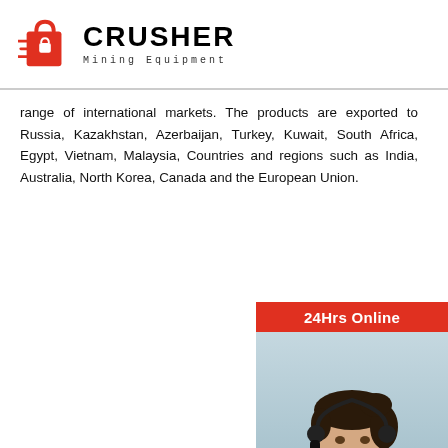CRUSHER Mining Equipment
range of international markets. The products are exported to Russia, Kazakhstan, Azerbaijan, Turkey, Kuwait, South Africa, Egypt, Vietnam, Malaysia, Countries and regions such as India, Australia, North Korea, Canada and the European Union.
[Figure (infographic): 24Hrs Online sidebar with customer service representative image, chat now button, enquiry link, and limingjlmofen@sina.com email]